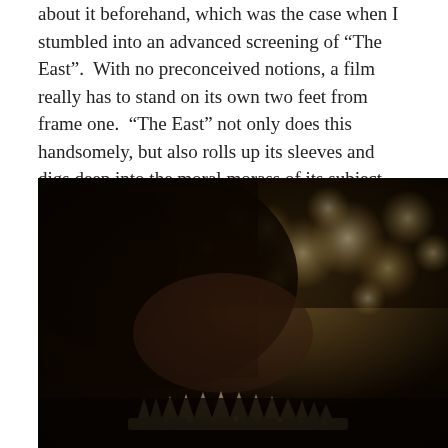about it beforehand, which was the case when I stumbled into an advanced screening of “The East”.  With no preconceived notions, a film really has to stand on its own two feet from frame one.  “The East” not only does this handsomely, but also rolls up its sleeves and digs deep into the moral morass of its subject-matter.
[Figure (photo): A dark, sepia-toned cinematic still showing a person wearing a black hood or scarf and an ornate lace crown/tiara, with blurred golden bokeh lights in the background, from the film 'The East'.]